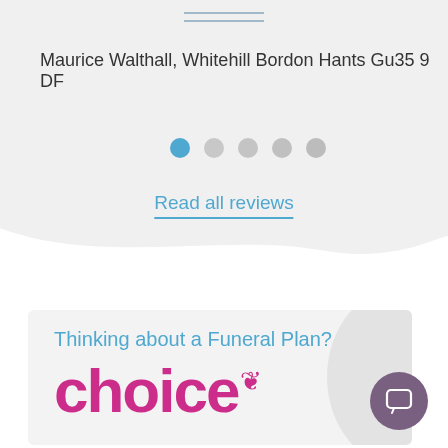Maurice Walthall, Whitehill Bordon Hants Gu35 9 DF
[Figure (infographic): Pagination dots: one filled blue circle followed by four gray circles, indicating a carousel position indicator]
Read all reviews
[Figure (infographic): Wave divider separating the gray review section from the white section below]
Thinking about a Funeral Plan?
[Figure (logo): Choice funeral plans logo in magenta/pink with a leaf accent mark]
[Figure (infographic): Gray circular arc decorative element on right side of the funeral plan card]
[Figure (infographic): Purple circular chat/messenger button in bottom right area]